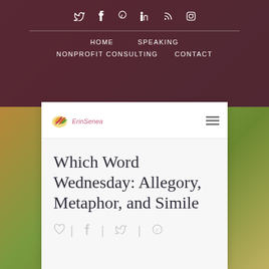Social icons: twitter, facebook, pinterest, linkedin, rss, instagram
HOME   SPEAKING   NONPROFIT CONSULTING   CONTACT
[Figure (logo): ErinSenea logo with colorful leaf graphic]
Which Word Wednesday: Allegory, Metaphor, and Simile
Social share icons: heart, facebook, twitter, pinterest